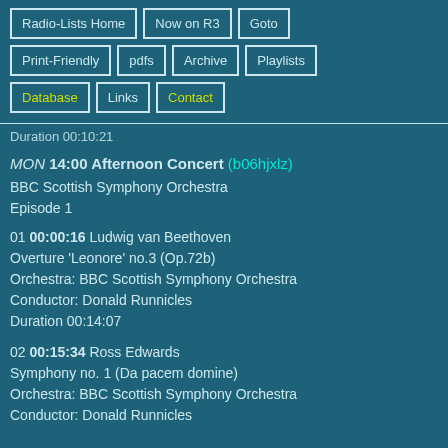Radio-Lists Home
Now on R3
Goto
Print-Friendly
pdfs
Archive
Playlists
Database
Links
Contact
Duration 00:10:21
MON 14:00 Afternoon Concert (b06hjxlz)
BBC Scottish Symphony Orchestra
Episode 1
01 00:00:16 Ludwig van Beethoven
Overture 'Leonore' no.3 (Op.72b)
Orchestra: BBC Scottish Symphony Orchestra
Conductor: Donald Runnicles
Duration 00:14:07
02 00:15:34 Ross Edwards
Symphony no. 1 (Da pacem domine)
Orchestra: BBC Scottish Symphony Orchestra
Conductor: Donald Runnicles